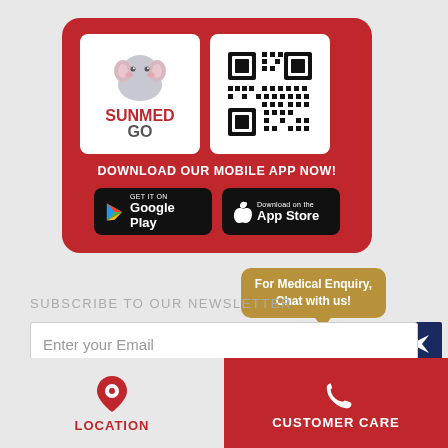[Figure (infographic): Red rounded rectangle card showing SUNMED GO app logo (elephant mascot) on left, QR code on right, with text DOWNLOAD OUR MOBILE APP NOW! and Google Play and App Store download buttons below]
DOWNLOAD OUR MOBILE APP NOW!
[Figure (infographic): Gold speech bubble saying For Medical Enquiry, Chat with us! with a teal medical support headset icon below it and a dark blue send button]
SUBSCRIBE TO OUR NEWSLETTER
Enter your Email
Privacy Policy | Anti-Bribery and Corruption Policy |
LOCATION
CUSTOMER CARE